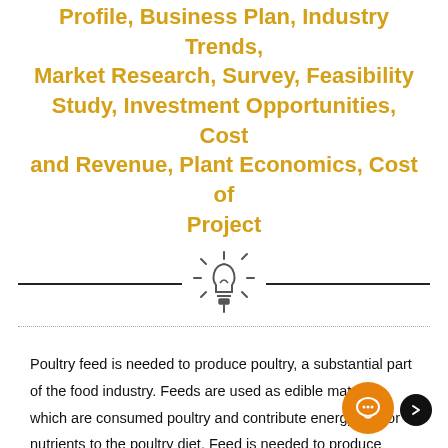Profile, Business Plan, Industry Trends, Market Research, Survey, Feasibility Study, Investment Opportunities, Cost and Revenue, Plant Economics, Cost of Project
[Figure (illustration): Light bulb icon with radiating lines indicating illumination, flanked by two horizontal black lines forming a decorative divider]
Poultry feed is needed to produce poultry, a substantial part of the food industry. Feeds are used as edible materials, which are consumed poultry and contribute energy and/or nutrients to the poultry diet. Feed is needed to produce poultry, which are substantial parts of the food industry. Poultry includes the following: Chickens, Turkeys, Ducks, Guineas, Pigeons, Pheasant, Ostrich, Peafowl and Swan etc. The size of the food industry depends on population, which is not constant. international Hatcheries viz. the Arbor Acres and the shaver, which